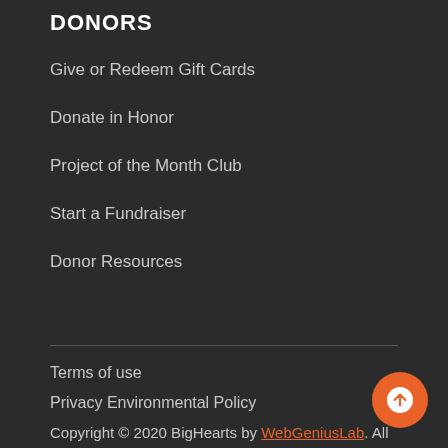DONORS
Give or Redeem Gift Cards
Donate in Honor
Project of the Month Club
Start a Fundraiser
Donor Resources
Terms of use
Privacy Environmental Policy
Copyright © 2020 BigHearts by WebGeniusLab. All